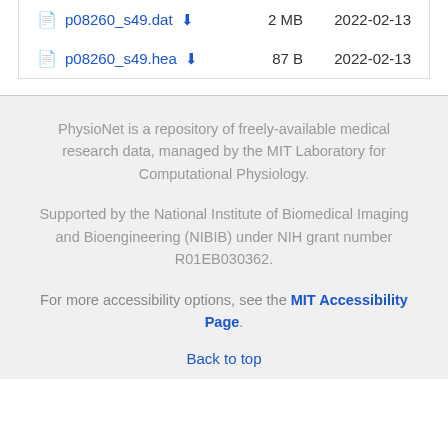| File |  | Size | Date |
| --- | --- | --- | --- |
| p08260_s49.dat | ⬇ | 2 MB | 2022-02-13 |
| p08260_s49.hea | ⬇ | 87 B | 2022-02-13 |
PhysioNet is a repository of freely-available medical research data, managed by the MIT Laboratory for Computational Physiology.
Supported by the National Institute of Biomedical Imaging and Bioengineering (NIBIB) under NIH grant number R01EB030362.
For more accessibility options, see the MIT Accessibility Page.
Back to top